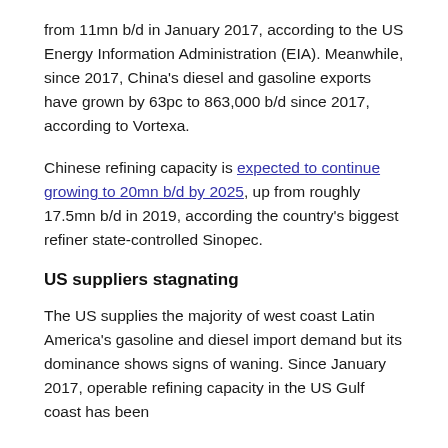from 11mn b/d in January 2017, according to the US Energy Information Administration (EIA). Meanwhile, since 2017, China's diesel and gasoline exports have grown by 63pc to 863,000 b/d since 2017, according to Vortexa.
Chinese refining capacity is expected to continue growing to 20mn b/d by 2025, up from roughly 17.5mn b/d in 2019, according the country's biggest refiner state-controlled Sinopec.
US suppliers stagnating
The US supplies the majority of west coast Latin America's gasoline and diesel import demand but its dominance shows signs of waning. Since January 2017, operable refining capacity in the US Gulf coast has been